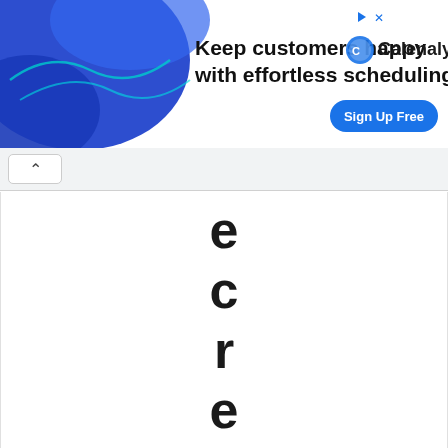[Figure (screenshot): Advertisement banner for Calenaly scheduling service. Blue gradient background with decorative blob on left. Text reads: Keep customers happy with effortless scheduling. Calenaly logo on right with play and close icons. Blue 'Sign Up Free' button.]
[Figure (screenshot): Browser navigation chrome showing a back/up arrow button on a light grey toolbar.]
e c r e a t i